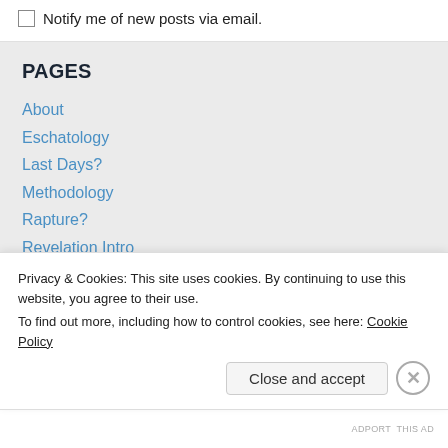Notify me of new posts via email.
PAGES
About
Eschatology
Last Days?
Methodology
Rapture?
Revelation Intro
Revelation-1
Privacy & Cookies: This site uses cookies. By continuing to use this website, you agree to their use.
To find out more, including how to control cookies, see here: Cookie Policy
Close and accept